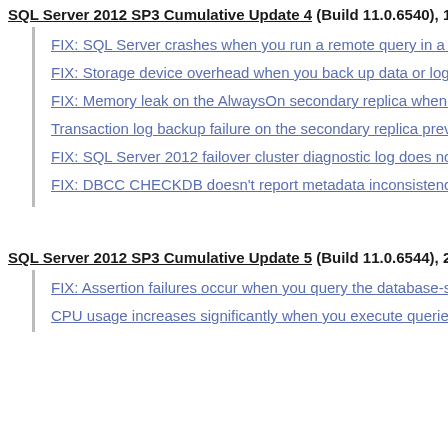SQL Server 2012 SP3 Cumulative Update 4 (Build 11.0.6540), 19 t...
FIX: SQL Server crashes when you run a remote query in a sto...
FIX: Storage device overhead when you back up data or log fil...
FIX: Memory leak on the AlwaysOn secondary replica when ch...
Transaction log backup failure on the secondary replica prever...
FIX: SQL Server 2012 failover cluster diagnostic log does not a...
FIX: DBCC CHECKDB doesn't report metadata inconsistency ...
SQL Server 2012 SP3 Cumulative Update 5 (Build 11.0.6544), 20 t...
FIX: Assertion failures occur when you query the database-sta...
CPU usage increases significantly when you execute queries t...